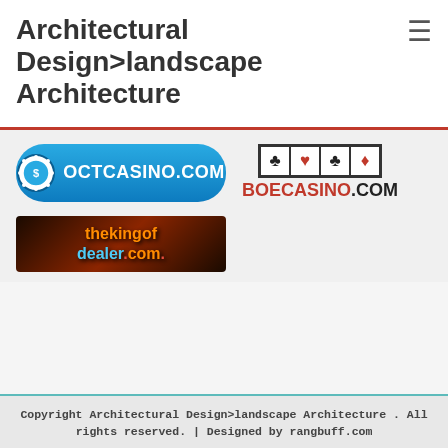Architectural Design>landscape Architecture
[Figure (logo): OCT Casino banner with blue rounded rectangle, casino chip icon, and text OCTCASINO.COM in white]
[Figure (logo): BOE Casino banner with card suit symbols (clubs, hearts, clubs, diamonds) in boxes and BOECASINO.COM text in red and black]
[Figure (logo): thekingofdealer.com banner with dark brown/red background, orange and blue text, playing card imagery]
Copyright Architectural Design>landscape Architecture . All rights reserved. | Designed by rangbuff.com